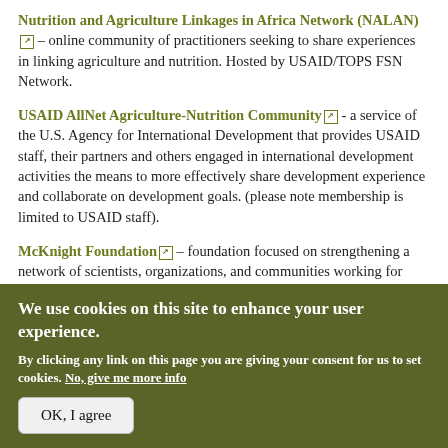Nutrition and Agriculture Linkages in Africa Network (NALAN) – online community of practitioners seeking to share experiences in linking agriculture and nutrition. Hosted by USAID/TOPS FSN Network.
USAID AllNet Agriculture-Nutrition Community - a service of the U.S. Agency for International Development that provides USAID staff, their partners and others engaged in international development activities the means to more effectively share development experience and collaborate on development goals. (please note membership is limited to USAID staff).
McKnight Foundation – foundation focused on strengthening a network of scientists, organizations, and communities working for food and nutritional security.
We use cookies on this site to enhance your user experience.
By clicking any link on this page you are giving your consent for us to set cookies. No, give me more info
OK, I agree